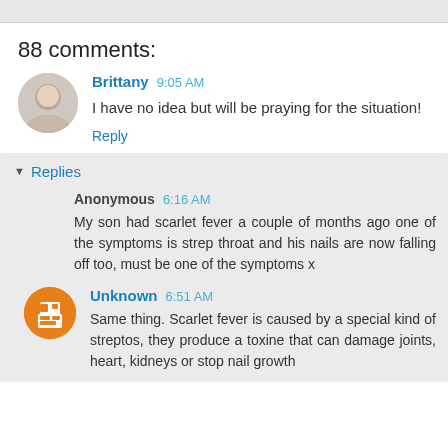88 comments:
Brittany  9:05 AM
I have no idea but will be praying for the situation!
Reply
Replies
Anonymous  6:16 AM
My son had scarlet fever a couple of months ago one of the symptoms is strep throat and his nails are now falling off too, must be one of the symptoms x
Unknown  6:51 AM
Same thing. Scarlet fever is caused by a special kind of streptos, they produce a toxine that can damage joints, heart, kidneys or stop nail growth